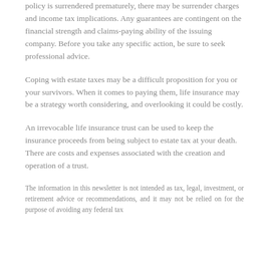policy is surrendered prematurely, there may be surrender charges and income tax implications. Any guarantees are contingent on the financial strength and claims-paying ability of the issuing company. Before you take any specific action, be sure to seek professional advice.
Coping with estate taxes may be a difficult proposition for you or your survivors. When it comes to paying them, life insurance may be a strategy worth considering, and overlooking it could be costly.
An irrevocable life insurance trust can be used to keep the insurance proceeds from being subject to estate tax at your death. There are costs and expenses associated with the creation and operation of a trust.
The information in this newsletter is not intended as tax, legal, investment, or retirement advice or recommendations, and it may not be relied on for the purpose of avoiding any federal tax